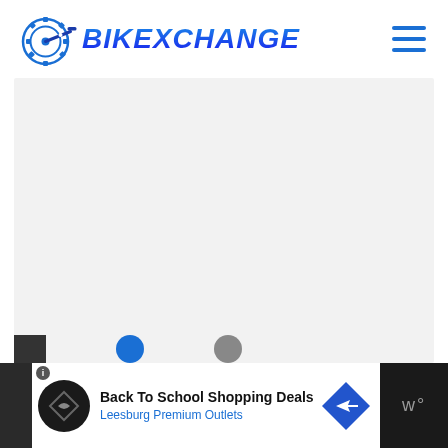[Figure (logo): BikExchange logo: blue gear/sprocket icon with bicycle crank arm, followed by bold italic blue gradient text 'BIKEXCHANGE']
[Figure (screenshot): Hamburger menu icon (three horizontal blue lines) in top right corner]
[Figure (screenshot): Large light gray content area below the header, representing the main page body]
[Figure (screenshot): Advertisement banner at the bottom: 'Back To School Shopping Deals' from 'Leesburg Premium Outlets' with circular dark logo icon and blue diamond arrow]